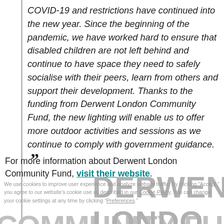COVID-19 and restrictions have continued into the new year. Since the beginning of the pandemic, we have worked hard to ensure that disabled children are not left behind and continue to have space they need to safely socialise with their peers, learn from others and support their development. Thanks to the funding from Derwent London Community Fund, the new lighting will enable us to offer more outdoor activities and sessions as we continue to comply with government guidance. ”
For more information about Derwent London Community Fund, visit their website.
We use cookies to improve user experience and analyze website traffic. By clicking “Accept,” you agree to our website’s cookie use as described in our Cookie Policy. You can change your cookie settings at any time by clicking “Preferences.”
[Figure (other): Derwent London Community Fund watermark logo text overlay showing 'DERWENT', 'LONDO' and 'COMMUNITY' in large grey letters]